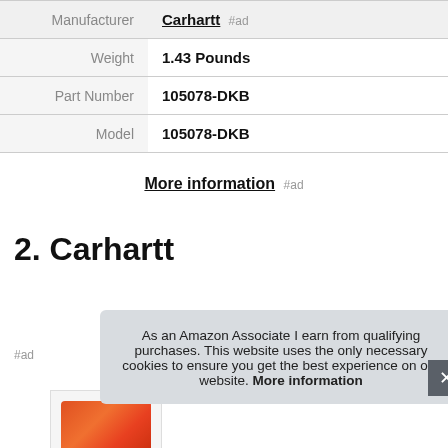|  |  |
| --- | --- |
| Manufacturer | Carhartt #ad |
| Weight | 1.43 Pounds |
| Part Number | 105078-DKB |
| Model | 105078-DKB |
More information #ad
2. Carhartt
#ad
As an Amazon Associate I earn from qualifying purchases. This website uses the only necessary cookies to ensure you get the best experience on our website. More information
[Figure (photo): Partial product image showing colorful item, cropped at bottom of page]